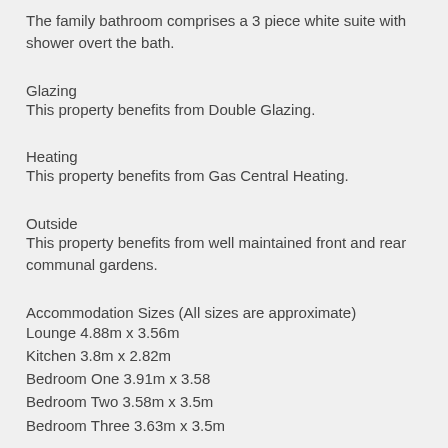The family bathroom comprises a 3 piece white suite with shower overt the bath.
Glazing
This property benefits from Double Glazing.
Heating
This property benefits from Gas Central Heating.
Outside
This property benefits from well maintained front and rear communal gardens.
Accommodation Sizes (All sizes are approximate)
Lounge 4.88m x 3.56m
Kitchen 3.8m x 2.82m
Bedroom One 3.91m x 3.58
Bedroom Two 3.58m x 3.5m
Bedroom Three 3.63m x 3.5m
Area
The property is located close to local amenities including excellent